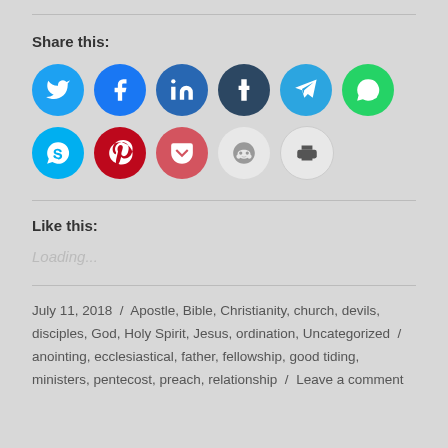Share this:
[Figure (infographic): Row of social media sharing icon buttons: Twitter (blue), Facebook (blue), LinkedIn (dark blue), Tumblr (dark slate), Telegram (light blue), WhatsApp (green), Skype (cyan), Pinterest (red), Pocket (red), Reddit (light gray), and a Print button (light gray).]
Like this:
Loading...
July 11, 2018 / Apostle, Bible, Christianity, church, devils, disciples, God, Holy Spirit, Jesus, ordination, Uncategorized / anointing, ecclesiastical, father, fellowship, good tiding, ministers, pentecost, preach, relationship / Leave a comment